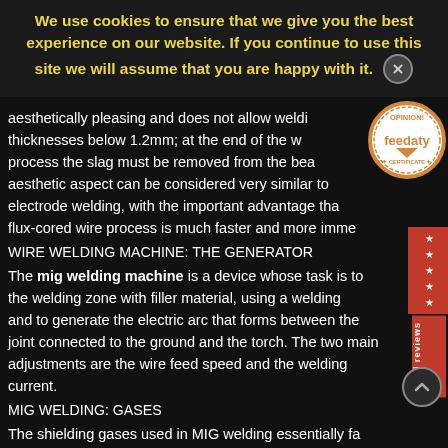We use cookies to ensure that we give you the best experience on our website. If you continue to use this site we will assume that you are happy with it.
aesthetically pleasing and does not allow welding thicknesses below 1.2mm; at the end of the welding process the slag must be removed from the bead; aesthetic aspect can be considered very similar to electrode welding, with the important advantage that flux-cored wire process is much faster and more immediate.
WIRE WELDING MACHINE: THE GENERATOR
The mig welding machine is a device whose task is to supply the welding zone with filler material, using a welding torch, and to generate the electric arc that forms between the joint connected to the ground and the torch. The two main adjustments are the wire feed speed and the welding current.
MIG WELDING: GASES
The shielding gases used in MIG welding essentially fall into two categories: inert and active. The first category includes argon and argon-helium mixtures used in MIG welding with aluminum wire or braze welding, while active gases such as